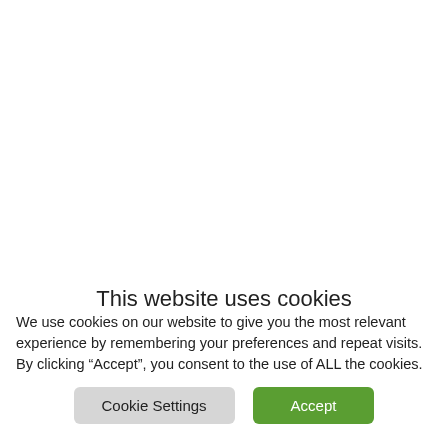[Figure (other): White blank content area above the cookie consent banner]
This website uses cookies
We use cookies on our website to give you the most relevant experience by remembering your preferences and repeat visits. By clicking “Accept”, you consent to the use of ALL the cookies.
Cookie Settings | Accept